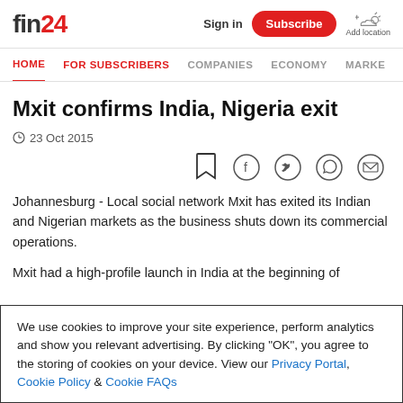fin24 | Sign in | Subscribe | Add location
HOME | FOR SUBSCRIBERS | COMPANIES | ECONOMY | MARKE
Mxit confirms India, Nigeria exit
23 Oct 2015
Johannesburg - Local social network Mxit has exited its Indian and Nigerian markets as the business shuts down its commercial operations.
Mxit had a high-profile launch in India at the beginning of
We use cookies to improve your site experience, perform analytics and show you relevant advertising. By clicking "OK", you agree to the storing of cookies on your device. View our Privacy Portal, Cookie Policy & Cookie FAQs